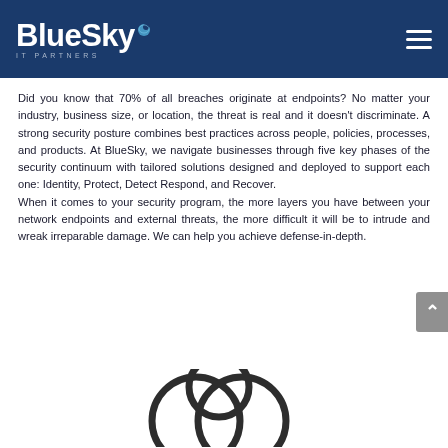BlueSky IT PARTNERS
Did you know that 70% of all breaches originate at endpoints? No matter your industry, business size, or location, the threat is real and it doesn't discriminate. A strong security posture combines best practices across people, policies, processes, and products. At BlueSky, we navigate businesses through five key phases of the security continuum with tailored solutions designed and deployed to support each one: Identity, Protect, Detect Respond, and Recover.
When it comes to your security program, the more layers you have between your network endpoints and external threats, the more difficult it will be to intrude and wreak irreparable damage. We can help you achieve defense-in-depth.
[Figure (illustration): Partial view of overlapping circle shapes (cloud or Venn diagram icon) at the bottom of the page, dark outline on white background]